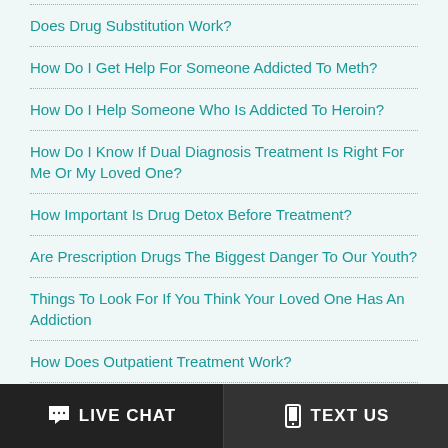Does Drug Substitution Work?
How Do I Get Help For Someone Addicted To Meth?
How Do I Help Someone Who Is Addicted To Heroin?
How Do I Know If Dual Diagnosis Treatment Is Right For Me Or My Loved One?
How Important Is Drug Detox Before Treatment?
Are Prescription Drugs The Biggest Danger To Our Youth?
Things To Look For If You Think Your Loved One Has An Addiction
How Does Outpatient Treatment Work?
LIVE CHAT   TEXT US